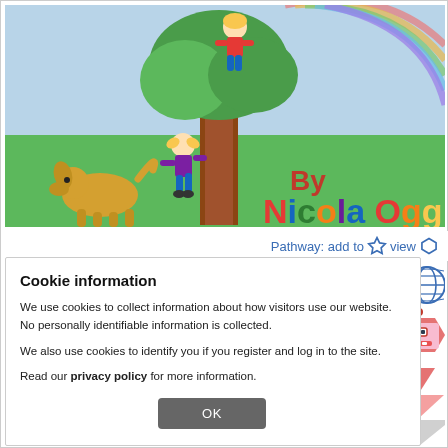[Figure (illustration): Children's book cover illustration: two children climbing a tree with a dog watching, green grass background, sky with rainbow colors. Text reads 'By Nicola Ogg' in large colorful letters (red, green, blue, orange).]
Pathway: add to ☆ view ⬡
Cookie information
We use cookies to collect information about how visitors use our website. No personally identifiable information is collected.
We also use cookies to identify you if you register and log in to the site.
Read our privacy policy for more information.
[Figure (illustration): Globe icon and robot mascot (hexagonal pink robot face) with pyramid/triangle shapes below in pink and light grey.]